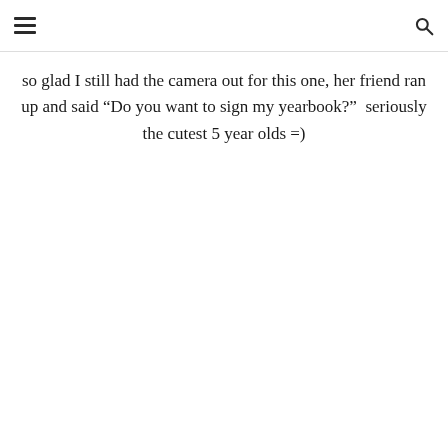so glad I still had the camera out for this one, her friend ran up and said “Do you want to sign my yearbook?”  seriously the cutest 5 year olds =)